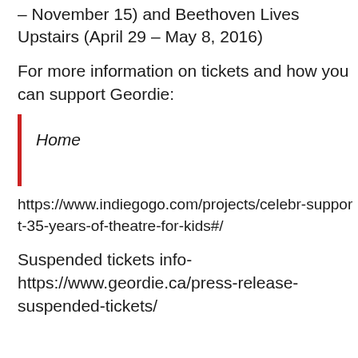– November 15) and Beethoven Lives Upstairs (April 29 – May 8, 2016)
For more information on tickets and how you can support Geordie:
Home
https://www.indiegogo.com/projects/celebr-support-35-years-of-theatre-for-kids#/
Suspended tickets info- https://www.geordie.ca/press-release-suspended-tickets/